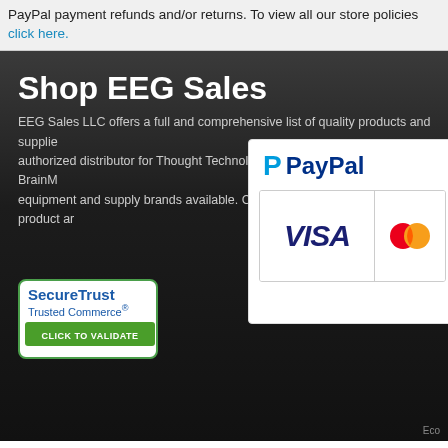PayPal payment refunds and/or returns. To view all our store policies click here.
Shop EEG Sales
EEG Sales LLC offers a full and comprehensive list of quality products and supplies. We are an authorized distributor for Thought Technology and an authorized reseller for BrainMaster. We carry many equipment and supply brands available. Customer service and quality of product are our priorities.
[Figure (logo): PayPal payment badge showing PayPal logo, VISA card logo, and MasterCard logo on white background]
[Figure (logo): SecureTrust Trusted Commerce badge with green border and green click to validate bar]
Eco